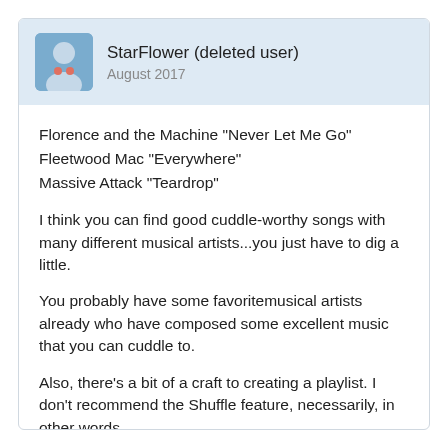StarFlower (deleted user)
August 2017
Florence and the Machine "Never Let Me Go"
Fleetwood Mac "Everywhere"
Massive Attack "Teardrop"
I think you can find good cuddle-worthy songs with many different musical artists...you just have to dig a little.
You probably have some favoritemusical artists already who have composed some excellent music that you can cuddle to.
Also, there's a bit of a craft to creating a playlist. I don't recommend the Shuffle feature, necessarily, in other words.
Good luck!